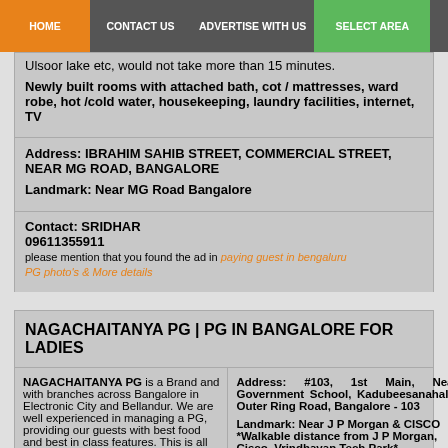HOME | CONTACT US | ADVERTISE WITH US | SELECT AREA
Ulsoor lake etc, would not take more than 15 minutes.
Newly built rooms with attached bath, cot / mattresses, ward robe, hot /cold water, housekeeping, laundry facilities, internet, TV
Address: IBRAHIM SAHIB STREET, COMMERCIAL STREET, NEAR MG ROAD, BANGALORE
Landmark: Near MG Road Bangalore
Contact: SRIDHAR
09611355911
please mention that you found the ad in paying guest in bengaluru
PG photo's & More details
NAGACHAITANYA PG | PG IN BANGALORE FOR LADIES
NAGACHAITANYA PG is a Brand and with branches across Bangalore in Electronic City and Bellandur. We are well experienced in managing a PG, providing our guests with best food and best in class features. This is all new Paying Guest opened newly in Kadubeesanahalli near JP Morgan very close to Marathahalli. We offer Hygienic
Address: #103, 1st Main, Near Government School, Kadubeesanahalli, Outer Ring Road, Bangalore - 103

Landmark: Near J P Morgan & CISCO
*Walkable distance from J P Morgan, Cisco, Vrindhavan Tech Park*